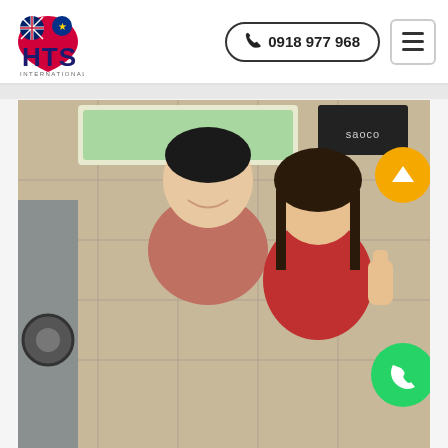[Figure (logo): HTS International Travel logo with UK and Australian flags and Vietnamese flag motif]
0918 977 968
[Figure (photo): Two smiling young Asian people, a man in a salmon/red t-shirt and a woman giving a thumbs up, photographed in front of a tiled wall with a convenience store background]